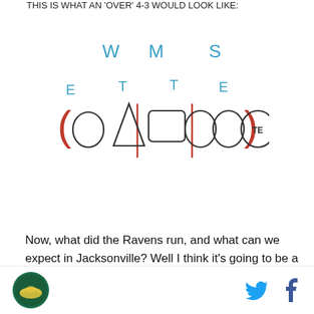THIS IS WHAT AN 'OVER' 4-3 WOULD LOOK LIKE:
[Figure (illustration): Hand-drawn football defensive formation diagram with letters W, M, S on top row and E, T, T, E labels over drawn shapes (oval, triangle, rectangle, oval, oval, circled TE) arranged in a line with red parentheses and vertical red lines marking positions.]
Now, what did the Ravens run, and what can we expect in Jacksonville? Well I think it's going to be a mixture of both, a 3-4 base with 4-3 philosophies. Wink